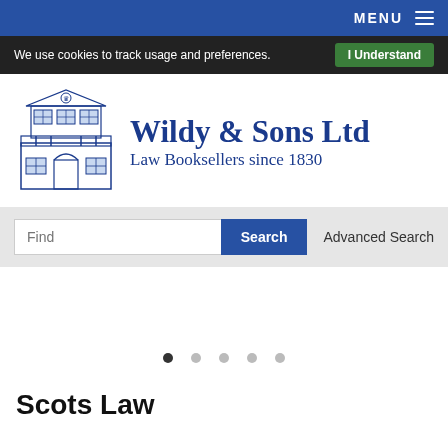MENU
We use cookies to track usage and preferences.  I Understand
[Figure (logo): Wildy & Sons Ltd building logo illustration in blue line art]
Wildy & Sons Ltd Law Booksellers since 1830
Find  Search  Advanced Search
[Figure (other): Carousel slider area with 5 dot indicators, first dot active]
Scots Law